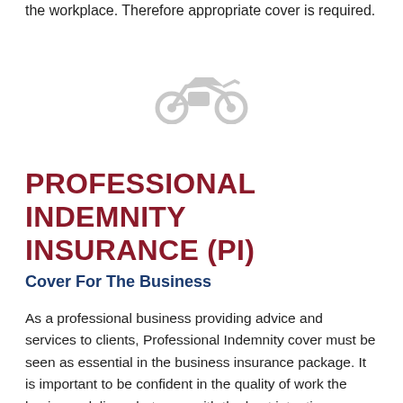the workplace. Therefore appropriate cover is required.
[Figure (illustration): Light gray motorcycle icon/silhouette centered on page]
PROFESSIONAL INDEMNITY INSURANCE (PI)
Cover For The Business
As a professional business providing advice and services to clients, Professional Indemnity cover must be seen as essential in the business insurance package. It is important to be confident in the quality of work the business delivers but even with the best intentions, can go wrong.